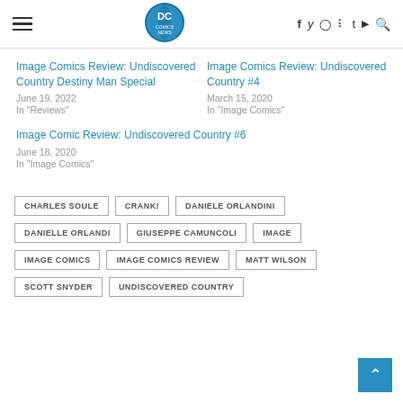DC Comics News header with logo and social icons
Image Comics Review: Undiscovered Country Destiny Man Special
June 19, 2022
In "Reviews"
Image Comics Review: Undiscovered Country #4
March 15, 2020
In "Image Comics"
Image Comic Review: Undiscovered Country #6
June 18, 2020
In "Image Comics"
CHARLES SOULE
CRANK!
DANIELE ORLANDINI
DANIELLE ORLANDI
GIUSEPPE CAMUNCOLI
IMAGE
IMAGE COMICS
IMAGE COMICS REVIEW
MATT WILSON
SCOTT SNYDER
UNDISCOVERED COUNTRY